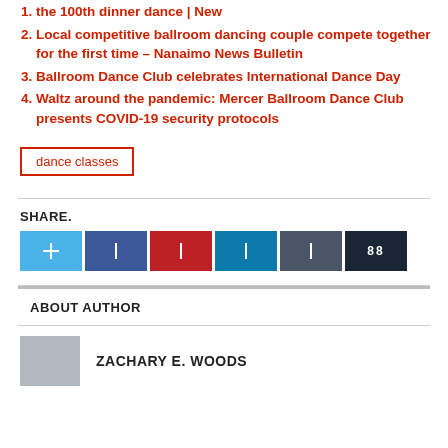the 100th dinner dance | New
Local competitive ballroom dancing couple compete together for the first time – Nanaimo News Bulletin
Ballroom Dance Club celebrates International Dance Day
Waltz around the pandemic: Mercer Ballroom Dance Club presents COVID-19 security protocols
dance classes
SHARE.
[Figure (other): Social share buttons: Twitter, Facebook, Pinterest, LinkedIn, Reddit, and a share count showing 88]
ABOUT AUTHOR
ZACHARY E. WOODS